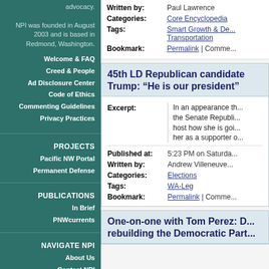advocacy.

NPI was founded in August 2003 and is based in Redmond, Washington.
Welcome & FAQ
Creed & People
Ad Disclosure Center
Code of Ethics
Commenting Guidelines
Privacy Practices
PROJECTS
Pacific NW Portal
Permanent Defense
PUBLICATIONS
In Brief
PNWcurrents
NAVIGATE NPI
About Us
Contact NPI
Research
Advocacy
Events
Written by: Paul Lawrence
Categories: Core Encyclopedia
Tags: Smart Growth & De... Transportation
Bookmark: Permalink | Comme...
45th LD Republican candidate Trump: "He is our president"
Excerpt: In an appearance th... the Senate Republi... host how she is goi... her as a supporter o...
Published at: 5:23 PM on Saturda...
Written by: Andrew Villeneuve...
Categories: Elections
Tags: WA-Leg
Bookmark: Permalink | Comme...
One-on-one with Tom Perez: D... rebuilding the Democratic Part...